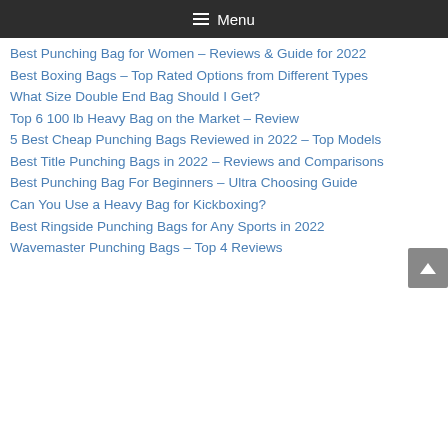≡ Menu
Best Punching Bag for Women – Reviews & Guide for 2022
Best Boxing Bags – Top Rated Options from Different Types
What Size Double End Bag Should I Get?
Top 6 100 lb Heavy Bag on the Market – Review
5 Best Cheap Punching Bags Reviewed in 2022 – Top Models
Best Title Punching Bags in 2022 – Reviews and Comparisons
Best Punching Bag For Beginners – Ultra Choosing Guide
Can You Use a Heavy Bag for Kickboxing?
Best Ringside Punching Bags for Any Sports in 2022
Wavemaster Punching Bags – Top 4 Reviews